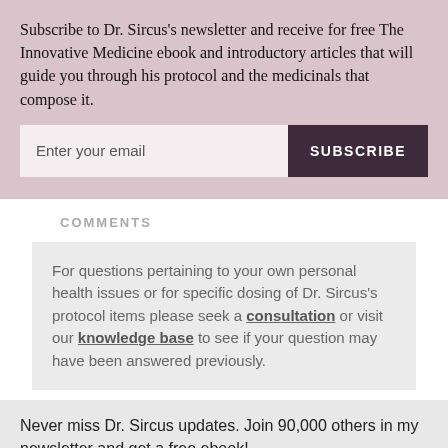Subscribe to Dr. Sircus's newsletter and receive for free The Innovative Medicine ebook and introductory articles that will guide you through his protocol and the medicinals that compose it.
Enter your email | SUBSCRIBE
COMMENTS
For questions pertaining to your own personal health issues or for specific dosing of Dr. Sircus's protocol items please seek a consultation or visit our knowledge base to see if your question may have been answered previously.
Never miss Dr. Sircus updates. Join 90,000 others in my newsletter and get a free ebook!
GET UPDATES